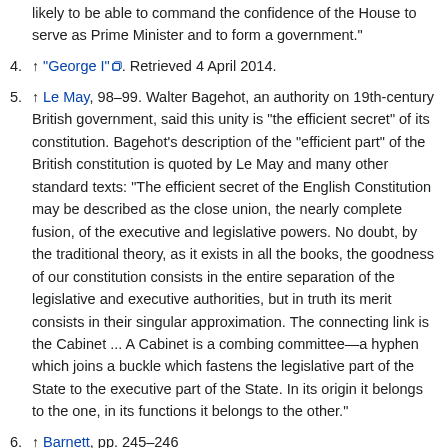likely to be able to command the confidence of the House to serve as Prime Minister and to form a government."
4. ↑ "George I". Retrieved 4 April 2014.
5. ↑ Le May, 98–99. Walter Bagehot, an authority on 19th-century British government, said this unity is "the efficient secret" of its constitution. Bagehot's description of the "efficient part" of the British constitution is quoted by Le May and many other standard texts: "The efficient secret of the English Constitution may be described as the close union, the nearly complete fusion, of the executive and legislative powers. No doubt, by the traditional theory, as it exists in all the books, the goodness of our constitution consists in the entire separation of the legislative and executive authorities, but in truth its merit consists in their singular approximation. The connecting link is the Cabinet ... A Cabinet is a combing committee—a hyphen which joins a buckle which fastens the legislative part of the State to the executive part of the State. In its origin it belongs to the one, in its functions it belongs to the other."
6. ↑ Barnett, pp. 245–246
7. ↑ King, pp. 3–8. King makes the point that much of the British constitution is in fact written and that no constitution is written down in its entirety. The distinctive feature of the British constitution, he